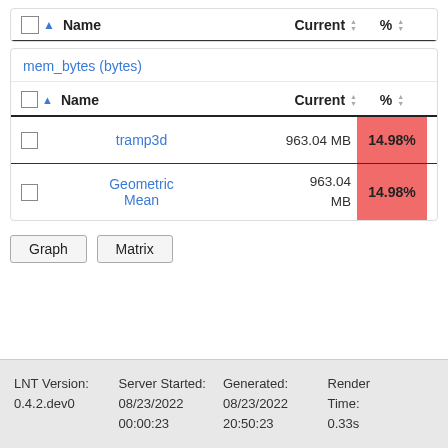|  | Name | Current | % |
| --- | --- | --- | --- |
mem_bytes (bytes)
|  | Name | Current | % |
| --- | --- | --- | --- |
| ☐ | tramp3d | 963.04 MB | 14.98% |
| ☐ | Geometric Mean | 963.04 MB | 14.98% |
Graph
Matrix
LNT Version: 0.4.2.dev0    Server Started: 08/23/2022 00:00:23    Generated: 08/23/2022 20:50:23    Render Time: 0.33s